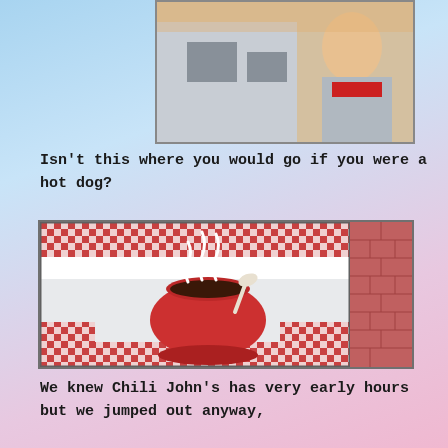[Figure (photo): Partial photo at the top showing a person in a jacket standing outside near a building]
Isn't this where you would go if you were a hot dog?
[Figure (photo): Photo of a restaurant window with red and white checkered curtains and a chili pot graphic painted on the glass, with brick wall on the right side]
We knew Chili John's has very early hours but we jumped out anyway,